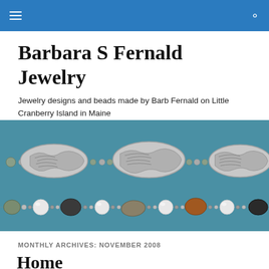Barbara S Fernald Jewelry — navigation bar
Barbara S Fernald Jewelry
Jewelry designs and beads made by Barb Fernald on Little Cranberry Island in Maine
[Figure (photo): Close-up photograph of two rows of jewelry/beads on a teal/blue background. Top row shows large ornate silver leaf-patterned oval beads with small green-grey beads between them. Bottom row shows natural stones including dark grey, grey-brown, rust/orange, and white pearl beads alternating with small silver spacer beads.]
MONTHLY ARCHIVES: NOVEMBER 2008
Home